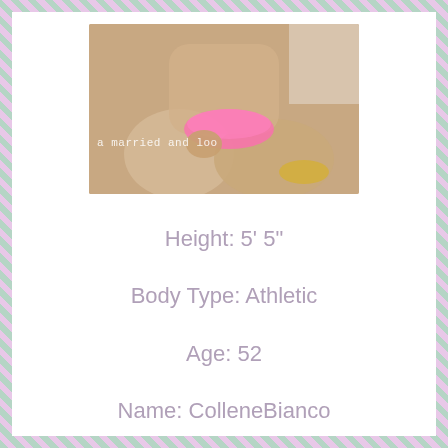[Figure (photo): Person sitting cross-legged wearing pink underwear, partial torso visible, with overlaid watermark text 'a married and loo...']
Height: 5' 5"
Body Type: Athletic
Age: 52
Name: ColleneBianco